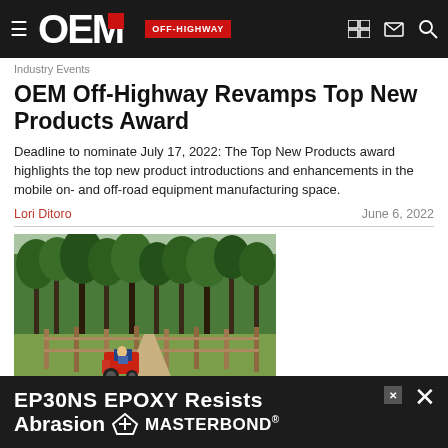OEM OFF-HIGHWAY
Industry Events
OEM Off-Highway Revamps Top New Products Award
Deadline to nominate July 17, 2022: The Top New Products award highlights the top new product introductions and enhancements in the mobile on- and off-road equipment manufacturing space.
Lori Ditoro    June 6, 2022
[Figure (photo): A person riding a red tractor through a field with wooden fencing and trees in the background]
Vehicle Boo...